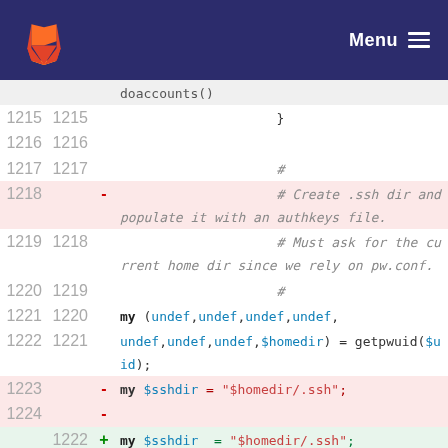GitLab navigation bar with logo and Menu button
[Figure (screenshot): GitLab source code diff view showing lines 1215-1224 and 1218-1222, including deletion and addition of SSH directory code in Perl]
Code diff lines 1215-1224 showing doaccounts() function changes including $sshdir variable modifications